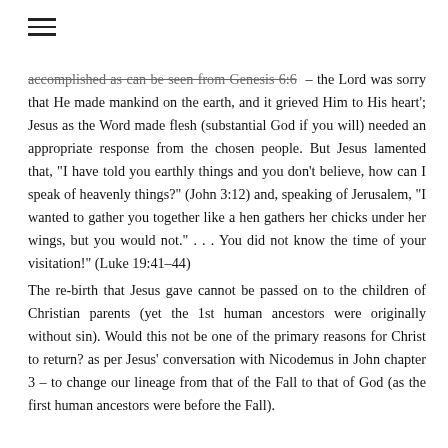≡
accomplished as can be seen from Genesis 6:6 – 'the Lord was sorry that He made mankind on the earth, and it grieved Him to His heart'; Jesus as the Word made flesh (substantial God if you will) needed an appropriate response from the chosen people. But Jesus lamented that, "I have told you earthly things and you don't believe, how can I speak of heavenly things?" (John 3:12) and, speaking of Jerusalem, "I wanted to gather you together like a hen gathers her chicks under her wings, but you would not." . . . You did not know the time of your visitation!" (Luke 19:41–44)
The re-birth that Jesus gave cannot be passed on to the children of Christian parents (yet the 1st human ancestors were originally without sin). Would this not be one of the primary reasons for Christ to return? as per Jesus' conversation with Nicodemus in John chapter 3 – to change our lineage from that of the Fall to that of God (as the first human ancestors were before the Fall).